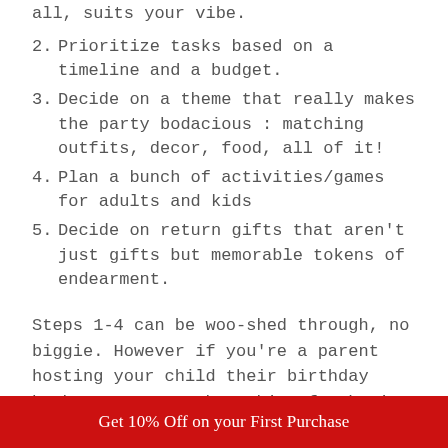all, suits your vibe.
2. Prioritize tasks based on a timeline and a budget.
3. Decide on a theme that really makes the party bodacious : matching outfits, decor, food, all of it!
4. Plan a bunch of activities/games for adults and kids
5. Decide on return gifts that aren’t just gifts but memorable tokens of endearment.
Steps 1-4 can be woo-shed through, no biggie. However if you’re a parent hosting your child their birthday bash, step 5 can be a bit of a brain scratcher. You want just the perfect thing, one that : is appropriate for kids, doesn’t cost a fortune, is memorable and comes as thoughtful. Wondering what checks all these boxes? We’ve got the answer right here for you. Drumroll…. CUSTOM THEME+NAME T-SHIRTS!
In the next bit I’ll show you the… Before the matter of f t
Get 10% Off on your First Purchase